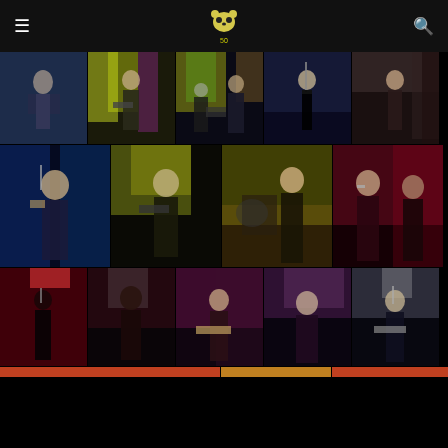Navigation header with hamburger menu, panda logo, and search icon
[Figure (photo): Grid of concert/live music performance photos showing musicians on stage with colorful stage lighting. Row 1: 5 photos of performers on stage. Row 2: 4 larger concert photos. Row 3: 5 concert photos with pink/red lighting. Row 4: partial strip of more concert photos.]